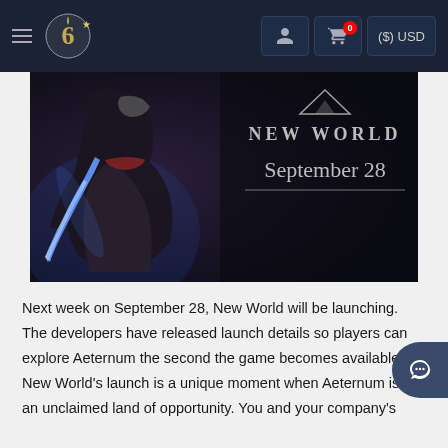Navigation bar with hamburger menu, logo, user icon, cart (0), ($) USD
[Figure (illustration): New World game promotional image showing an armored warrior figure holding a glowing blue sword, with text 'NEW WORLD' and 'September 28' on the right side against a dark background]
Next week on September 28, New World will be launching. The developers have released launch details so players can explore Aeternum the second the game becomes available. New World's launch is a unique moment when Aeternum is an unclaimed land of opportunity. You and your company's